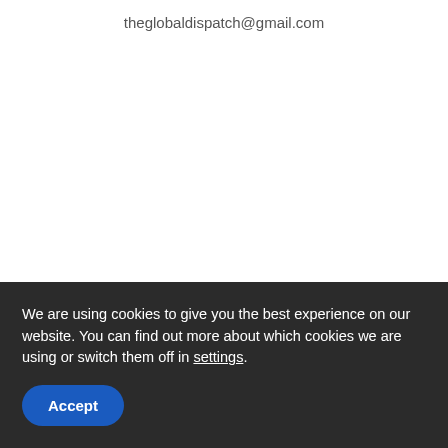theglobaldispatch@gmail.com
We are using cookies to give you the best experience on our website. You can find out more about which cookies we are using or switch them off in settings.
Accept